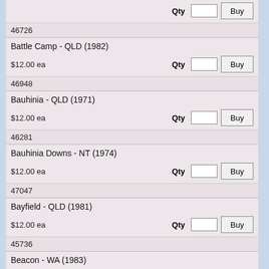Qty [input] Buy (partial top row)
46726
Battle Camp - QLD (1982)
$12.00 ea  Qty [input] Buy
46948
Bauhinia - QLD (1971)
$12.00 ea  Qty [input] Buy
46281
Bauhinia Downs - NT (1974)
$12.00 ea  Qty [input] Buy
47047
Bayfield - QLD (1981)
$12.00 ea  Qty [input] Buy
45736
Beacon - WA (1983)
$12.00 ea  Qty [input] Buy
45594
Beagle Islands - WA (2000)